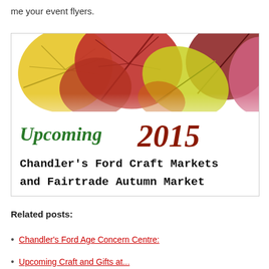me your event flyers.
[Figure (illustration): Autumn leaves decorative banner with text 'Upcoming 2015 Chandler's Ford Craft Markets and Fairtrade Autumn Market'. Colorful fall leaves (yellow, red, orange) in upper portion. 'Upcoming' in green italic serif, '2015' in dark red italic serif, market name in bold typewriter font.]
Related posts:
Chandler's Ford Age Concern Centre:
(partially visible link text)